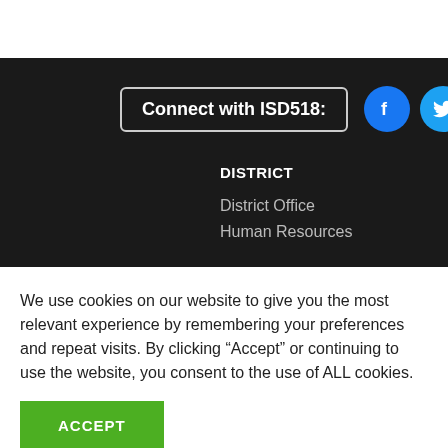[Figure (screenshot): Connect with ISD518 social media row with Facebook, Twitter, YouTube, and Instagram icons on dark background]
DISTRICT
District Office
Human Resources
We use cookies on our website to give you the most relevant experience by remembering your preferences and repeat visits. By clicking “Accept” or continuing to use the website, you consent to the use of ALL cookies.
ACCEPT